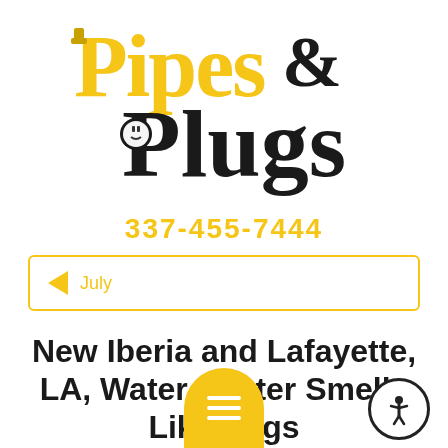[Figure (logo): Pipes & Plugs logo: stylized yellow and black text with pipe and electrical outlet icons]
337-455-7444
< July
New Iberia and Lafayette, LA, Water Heater Smells Like Eggs